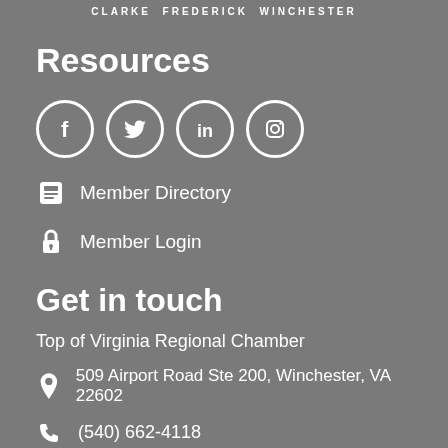CLARKE  FREDERICK  WINCHESTER
Resources
[Figure (infographic): Four social media icons in white circles: Facebook, Twitter, LinkedIn, Instagram]
Member Directory
Member Login
Get in touch
Top of Virginia Regional Chamber
509 Airport Road Ste 200, Winchester, VA 22602
(540) 662-4118
office@regionalchamber.biz